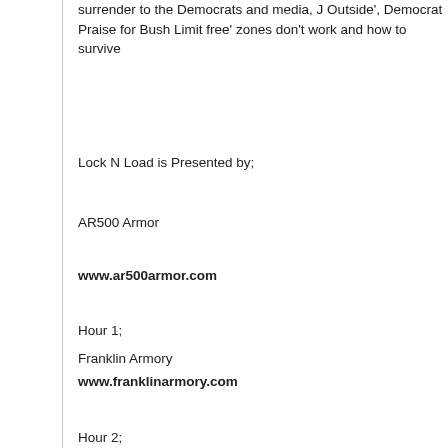surrender to the Democrats and media, J Outside', Democrat Praise for Bush Limit free' zones don't work and how to survive
Lock N Load is Presented by;
AR500 Armor
www.ar500armor.com
Hour 1;
Franklin Armory
www.franklinarmory.com
Hour 2;
Boyds Gunstocks
www.boydsgunstocks.com